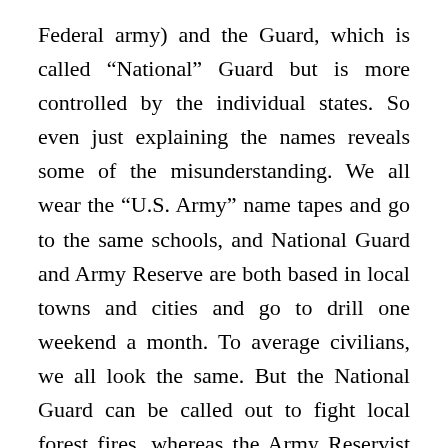Federal army) and the Guard, which is called “National” Guard but is more controlled by the individual states. So even just explaining the names reveals some of the misunderstanding. We all wear the “U.S. Army” name tapes and go to the same schools, and National Guard and Army Reserve are both based in local towns and cities and go to drill one weekend a month. To average civilians, we all look the same. But the National Guard can be called out to fight local forest fires, whereas the Army Reservist who lives next door has to wait until a “Federal Disaster” is declared before he or she is mobilized to do the same thing.
Idaho is one of those Western states that, every year like clockwork, has massive forest or rangeland fires.